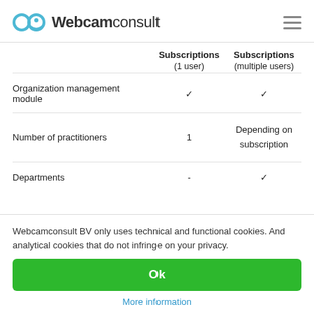[Figure (logo): WebcamConsult logo with infinity/camera icon and text 'Webcamconsult']
|  | Subscriptions (1 user) | Subscriptions (multiple users) |
| --- | --- | --- |
| Organization management module | ✓ | ✓ |
| Number of practitioners | 1 | Depending on subscription |
| Departments | - | ✓ |
Webcamconsult BV only uses technical and functional cookies. And analytical cookies that do not infringe on your privacy.
Ok
More information